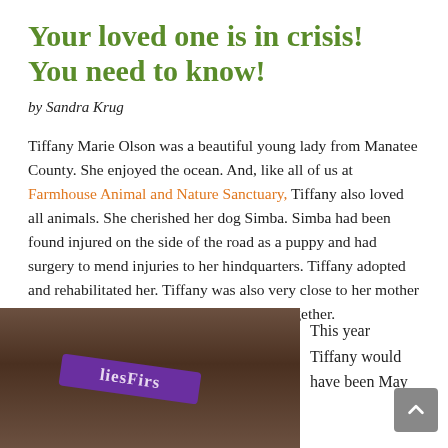Your loved one is in crisis! You need to know!
by Sandra Krug
Tiffany Marie Olson was a beautiful young lady from Manatee County. She enjoyed the ocean. And, like all of us at Farmhouse Animal and Nature Sanctuary, Tiffany also loved all animals. She cherished her dog Simba. Simba had been found injured on the side of the road as a puppy and had surgery to mend injuries to her hindquarters. Tiffany adopted and rehabilitated her. Tiffany was also very close to her mother Christine. They enjoyed taking day trips together.
[Figure (photo): Close-up photo showing a purple ribbon/collar with the word 'FamiliesFirst' visible against a dark brown background, possibly an animal's fur or skin.]
This year Tiffany would have been May